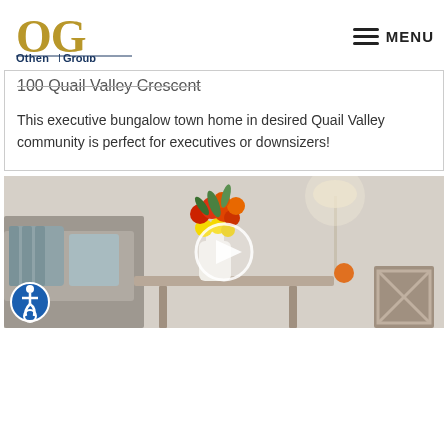[Figure (logo): Othen Group logo with gold OG letters and dark blue text]
MENU
100 Quail Valley Crescent
This executive bungalow town home in desired Quail Valley community is perfect for executives or downsizers!
[Figure (photo): Interior living room photo with a white vase of colorful flowers (red, orange, yellow) on a table, grey sofa with pillows in background, soft warm lighting]